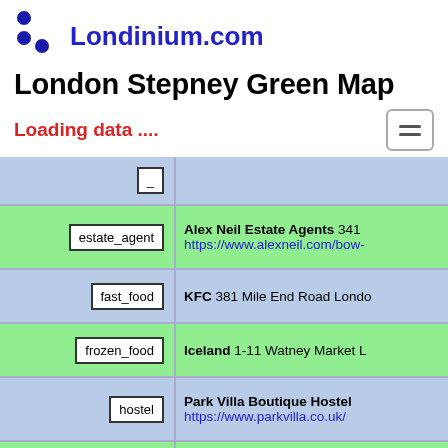Londinium.com
London Stepney Green Map
Loading data ....
| type | name / address / url |
| --- | --- |
| estate_agent | Alex Neil Estate Agents 341… https://www.alexneil.com/bow-… |
| fast_food | KFC 381 Mile End Road Londo… |
| frozen_food | Iceland 1-11 Watney Market L… |
| hostel | Park Villa Boutique Hostel https://www.parkvilla.co.uk/ |
| estate_agent | Fairdeal Property Services http://www.fairdealgroup.co.uk… |